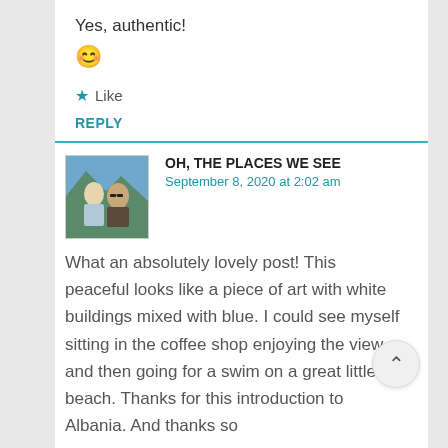Yes, authentic!
😊
★ Like
REPLY
OH, THE PLACES WE SEE
September 8, 2020 at 2:02 am
[Figure (photo): Profile photo of two people outdoors with mountains in background]
What an absolutely lovely post! This peaceful looks like a piece of art with white buildings mixed with blue. I could see myself sitting in the coffee shop enjoying the view and then going for a swim on a great little beach. Thanks for this introduction to Albania. And thanks so